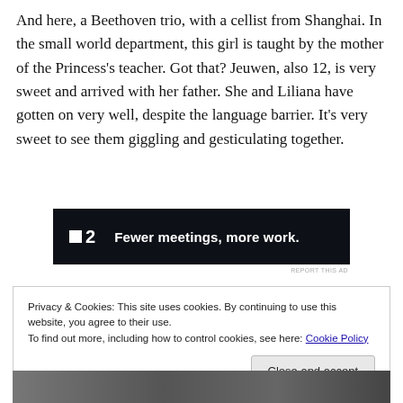And here, a Beethoven trio, with a cellist from Shanghai. In the small world department, this girl is taught by the mother of the Princess's teacher. Got that? Jeuwen, also 12, is very sweet and arrived with her father. She and Liliana have gotten on very well, despite the language barrier. It's very sweet to see them giggling and gesticulating together.
[Figure (other): Advertisement banner with dark background showing a square logo '2' and text 'Fewer meetings, more work.']
Privacy & Cookies: This site uses cookies. By continuing to use this website, you agree to their use.
To find out more, including how to control cookies, see here: Cookie Policy
[Figure (photo): Photo strip showing people at bottom of page]